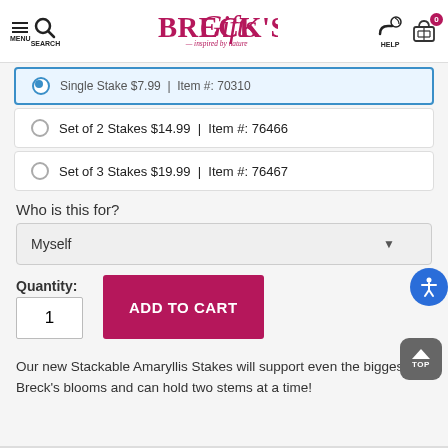Breck's Gifts — Inspired by nature | MENU | SEARCH | HELP | Cart: 0
Single Stake $7.99 | Item #: 70310
Set of 2 Stakes $14.99 | Item #: 76466
Set of 3 Stakes $19.99 | Item #: 76467
Who is this for?
Myself (dropdown)
Quantity: 1
ADD TO CART
Our new Stackable Amaryllis Stakes will support even the biggest Breck's blooms and can hold two stems at a time!